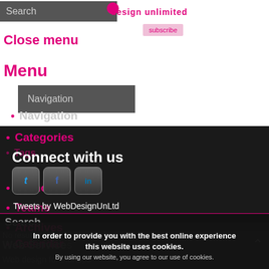Search
design unlimited
Close menu
Menu
Navigation
Categories
Tags
Authors
Teams
Archives
Calendar
Connect with us
[Figure (illustration): Social media icons: Twitter, Facebook, LinkedIn]
Tweets by WebDesignUnLtd
Search
In order to provide you with the best online experience this website uses cookies.
By using our website, you agree to our use of cookies.
No results found
Web Services
Web design for startups